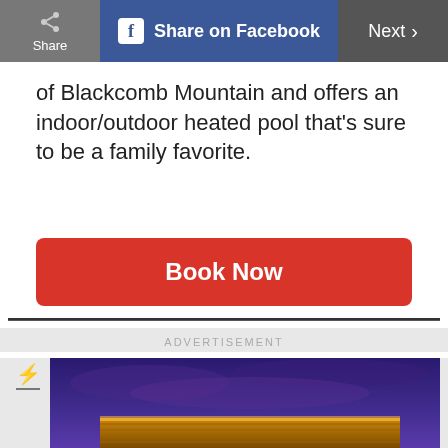Share | Share on Facebook | Next
of Blackcomb Mountain and offers an indoor/outdoor heated pool that's sure to be a family favorite.
Book Now
ADVERTISEMENT
[Figure (photo): Exterior building shot at dusk/twilight with purple sky and illuminated roofline]